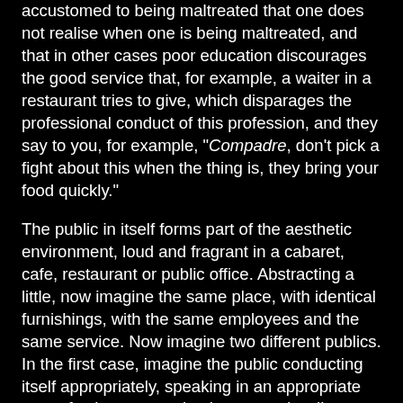accustomed to being maltreated that one does not realise when one is being maltreated, and that in other cases poor education discourages the good service that, for example, a waiter in a restaurant tries to give, which disparages the professional conduct of this profession, and they say to you, for example, "Compadre, don't pick a fight about this when the thing is, they bring your food quickly."
The public in itself forms part of the aesthetic environment, loud and fragrant in a cabaret, cafe, restaurant or public office. Abstracting a little, now imagine the same place, with identical furnishings, with the same employees and the same service. Now imagine two different publics. In the first case, imagine the public conducting itself appropriately, speaking in an appropriate tone of voice, appropriately neat and well-dressed for the occasion and capable of appreciating and being grateful for the good service provided by the employees, that the music is appropriate for the occasion and the sound level suitable for the establishment. Now wake yourself up and think about how you would feel in this same place, changing only the public: now there's a certain stench of sweat in the air, mixed with garish perfume, cigar smoke and beer, the music so loud that it inhibits